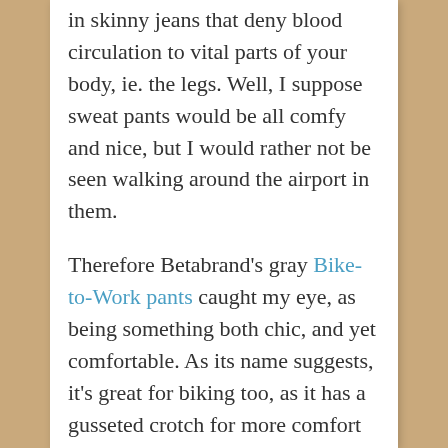in skinny jeans that deny blood circulation to vital parts of your body, ie. the legs. Well, I suppose sweat pants would be all comfy and nice, but I would rather not be seen walking around the airport in them.

Therefore Betabrand's gray Bike-to-Work pants caught my eye, as being something both chic, and yet comfortable. As its name suggests, it's great for biking too, as it has a gusseted crotch for more comfort while in the saddle, perfect for getting around the city of your choice on a bike. Betabrand also offer's a variety of women's pants